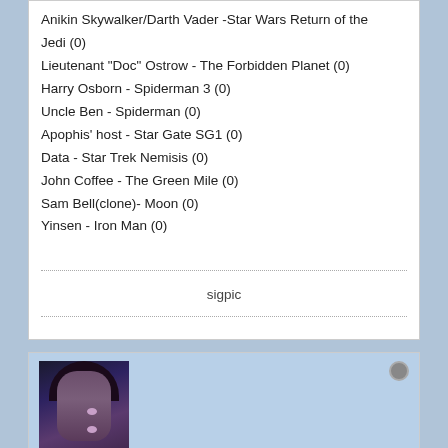Anikin Skywalker/Darth Vader -Star Wars Return of the Jedi (0)
Lieutenant "Doc" Ostrow - The Forbidden Planet (0)
Harry Osborn - Spiderman 3 (0)
Uncle Ben - Spiderman (0)
Apophis' host - Star Gate SG1 (0)
Data - Star Trek Nemisis (0)
John Coffee - The Green Mile (0)
Sam Bell(clone)- Moon (0)
Yinsen - Iron Man (0)
sigpic
[Figure (photo): Avatar photo of a blue/purple-skinned female sci-fi character with long dark hair, appearing to be from a movie or TV show.]